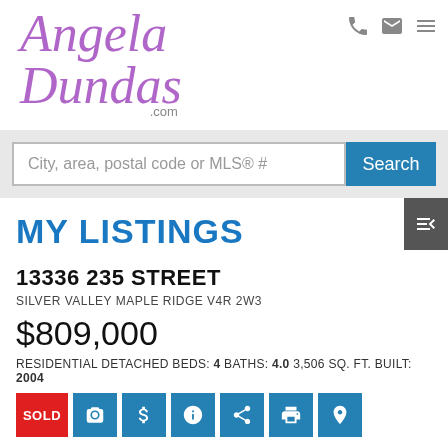[Figure (logo): Angela Dundas .com logo in purple italic script font]
City, area, postal code or MLS® #
Search
MY LISTINGS
13336 235 STREET
SILVER VALLEY MAPLE RIDGE V4R 2W3
$809,000
RESIDENTIAL DETACHED BEDS: 4 BATHS: 4.0 3,506 SQ. FT. BUILT: 2004
SOLD